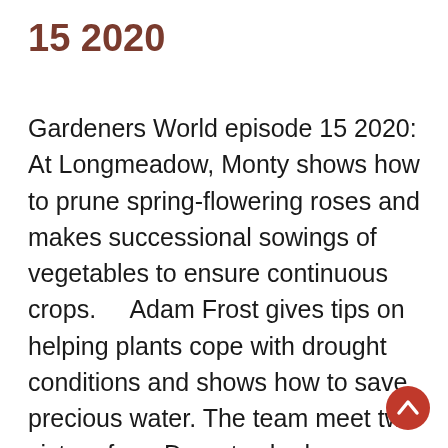15 2020
Gardeners World episode 15 2020: At Longmeadow, Monty shows how to prune spring-flowering roses and makes successional sowings of vegetables to ensure continuous crops.    Adam Frost gives tips on helping plants cope with drought conditions and shows how to save precious water. The team meet two sisters from Dorset, who have discovered a new love of gardening and have been supported in their